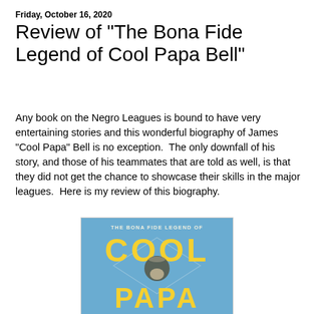Friday, October 16, 2020
Review of "The Bona Fide Legend of Cool Papa Bell"
Any book on the Negro Leagues is bound to have very entertaining stories and this wonderful biography of James "Cool Papa" Bell is no exception.  The only downfall of his story, and those of his teammates that are told as well, is that they did not get the chance to showcase their skills in the major leagues.  Here is my review of this biography.
[Figure (photo): Book cover of 'The Bona Fide Legend of Cool Papa Bell' — blue background with large yellow letters spelling COOL and PAPA, with a photo of a baseball player in the center.]